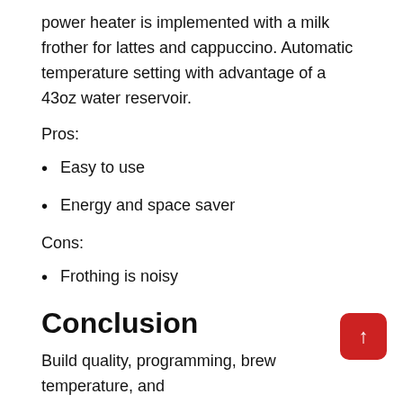power heater is implemented with a milk frother for lattes and cappuccino. Automatic temperature setting with advantage of a 43oz water reservoir.
Pros:
Easy to use
Energy and space saver
Cons:
Frothing is noisy
Conclusion
Build quality, programming, brew temperature, and